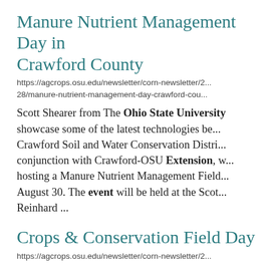Manure Nutrient Management Day in Crawford County
https://agcrops.osu.edu/newsletter/corn-newsletter/2...28/manure-nutrient-management-day-crawford-cou...
Scott Shearer from The Ohio State University showcase some of the latest technologies be... Crawford Soil and Water Conservation Distri... conjunction with Crawford-OSU Extension, w... hosting a Manure Nutrient Management Field... August 30. The event will be held at the Scot... Reinhard ...
Crops & Conservation Field Day
https://agcrops.osu.edu/newsletter/corn-newsletter/2...